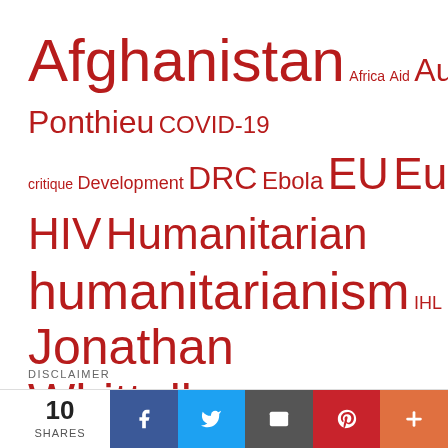[Figure (infographic): Tag cloud with humanitarian/political topics in varying red font sizes on white background]
DISCLAIMER
10 SHARES | Facebook | Twitter | Email | Pinterest | More